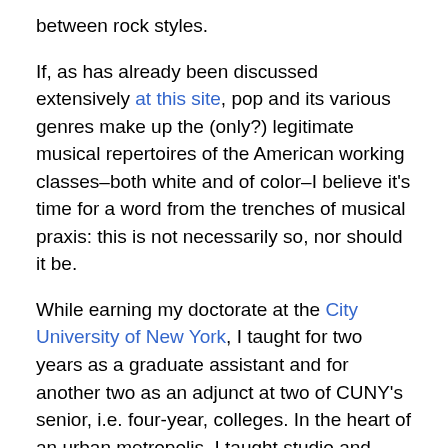between rock styles.
If, as has already been discussed extensively at this site, pop and its various genres make up the (only?) legitimate musical repertoires of the American working classes–both white and of color–I believe it's time for a word from the trenches of musical praxis: this is not necessarily so, nor should it be.
While earning my doctorate at the City University of New York, I taught for two years as a graduate assistant and for another two as an adjunct at two of CUNY's senior, i.e. four-year, colleges. In the heart of an urban metropolis, I taught studio and class voice, that is to say both individual lessons and singing classes en masse. My students, with very few exceptions, were from the outer-borough working classes, traveling long distances on public transportation